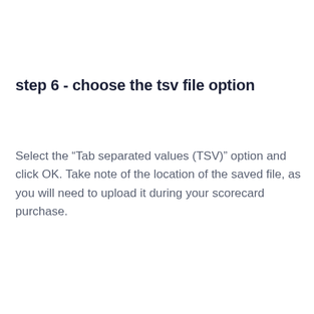step 6 - choose the tsv file option
Select the “Tab separated values (TSV)” option and click OK. Take note of the location of the saved file, as you will need to upload it during your scorecard purchase.